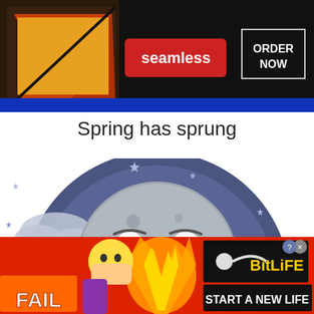[Figure (screenshot): Seamless food delivery advertisement banner with pizza image on left, red Seamless logo in center, and ORDER NOW button on right, dark background]
Spring has sprung
[Figure (illustration): Cartoon smiling moon face with blue eyes, set against a dark blue circular background with stars and clouds. The moon has a large grin and 3D shading.]
[Figure (screenshot): BitLife game advertisement with FAIL text, emoji facepalm, flame, sperm logo, BitLife branding, and START A NEW LIFE tagline on red/yellow/black background]